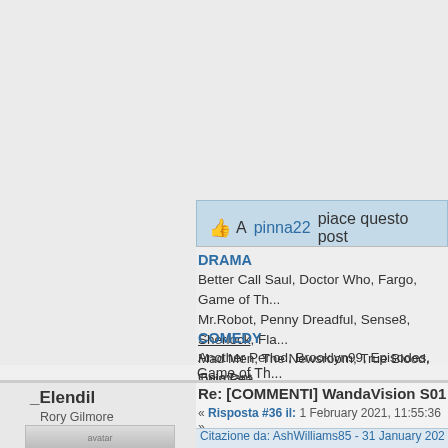👍 A pinna22 piace questo post
DRAMA
Better Call Saul, Doctor Who, Fargo, Game of Th... Mr.Robot, Penny Dreadful, Sense8, Sherlock, Fla... Mad Men, The Newsroom, True Blood, Twin Pea...
COMEDY
Another Period, Brooklyn99, Episodes, Galavant,... Veep, You're the Worst, 30Rock, Boris, Californic...
ANIME
Assassination Classroom, Attack on Titan, One P... Brotherhood, GTO, Gurren Lagann, Highschool o...
_Elendil
Rory Gilmore
Re: [COMMENTI] WandaVision S01E04 -
« Risposta #36 il: 1 February 2021, 11:55:36 »
Citazione da: AshWilliams85 - 31 January 2021, 09:39